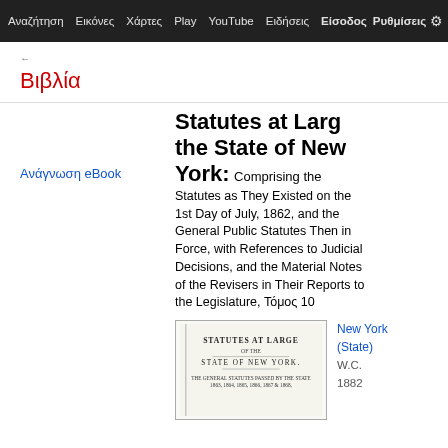Αναζήτηση  Εικόνες  Χάρτες  Play  YouTube  Ειδήσεις  Είσοδος  Ρυθμίσεις
Βιβλία
Ανάγνωση eBook
Statutes at Large of the State of New York:
Comprising the Statutes as They Existed on the 1st Day of July, 1862, and the General Public Statutes Then in Force, with References to Judicial Decisions, and the Material Notes of the Revisers in Their Reports to the Legislature, Τόμος 10
[Figure (illustration): Book cover image showing 'STATUTES AT LARGE OF THE STATE OF NEW YORK' title page in vintage typographic style]
New York (State)
W.C.
1882